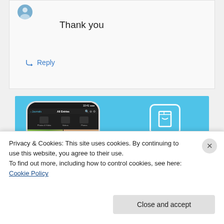Thank you
↳ Reply
[Figure (photo): DayOne app advertisement banner showing a phone with photo journal and blue background with text 'DAYONE Your Journal for life']
Privacy & Cookies: This site uses cookies. By continuing to use this website, you agree to their use.
To find out more, including how to control cookies, see here: Cookie Policy
Close and accept